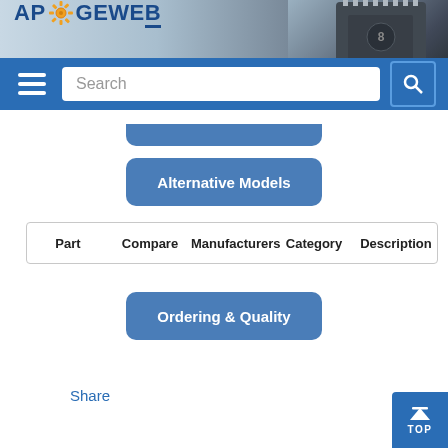APOGEEWEB
[Figure (screenshot): Navigation bar with hamburger menu, search box, and search button on blue background]
[Figure (screenshot): Partial blue rounded button at top]
[Figure (screenshot): Blue rounded button labeled Alternative Models]
| Part | Compare | Manufacturers | Category | Description |
| --- | --- | --- | --- | --- |
[Figure (screenshot): Blue rounded button labeled Ordering & Quality]
Share
[Figure (screenshot): Blue TOP scroll-to-top button in bottom right corner]